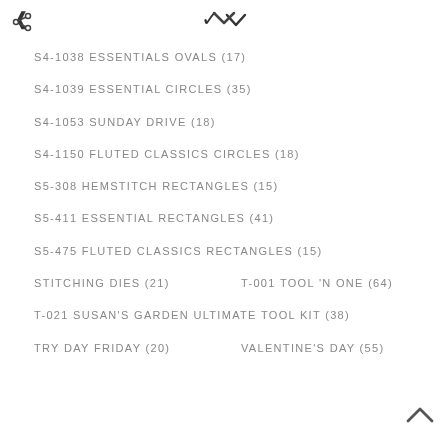S4-1038 ESSENTIALS OVALS (17)
S4-1039 ESSENTIAL CIRCLES (35)
S4-1053 SUNDAY DRIVE (18)
S4-1150 FLUTED CLASSICS CIRCLES (18)
S5-308 HEMSTITCH RECTANGLES (15)
S5-411 ESSENTIAL RECTANGLES (41)
S5-475 FLUTED CLASSICS RECTANGLES (15)
STITCHING DIES (21)     T-001 TOOL 'N ONE (64)
T-021 SUSAN'S GARDEN ULTIMATE TOOL KIT (38)
TRY DAY FRIDAY (20)     VALENTINE'S DAY (55)